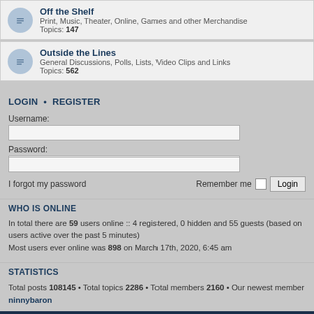Off the Shelf — Print, Music, Theater, Online, Games and other Merchandise. Topics: 147
Outside the Lines — General Discussions, Polls, Lists, Video Clips and Links. Topics: 562
LOGIN • REGISTER
Username:
Password:
I forgot my password
Remember me  Login
WHO IS ONLINE
In total there are 59 users online :: 4 registered, 0 hidden and 55 guests (based on users active over the past 5 minutes)
Most users ever online was 898 on March 17th, 2020, 6:45 am
STATISTICS
Total posts 108145 • Total topics 2286 • Total members 2160 • Our newest member ninnybaron
AV Forum Home   Delete cookies   All times are UTC-04:00
Powered by phpBB® Forum Software © phpBB Limited